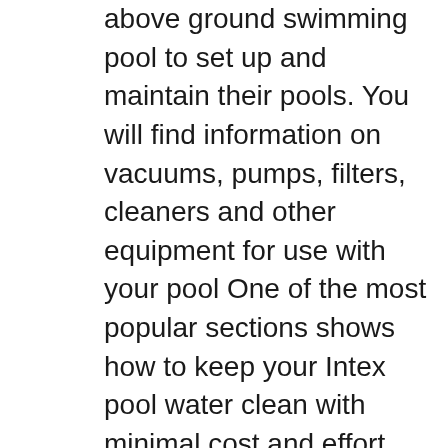above ground swimming pool to set up and maintain their pools. You will find information on vacuums, pumps, filters, cleaners and other equipment for use with your pool One of the most popular sections shows how to keep your Intex pool water clean with minimal cost and effort. This (195PO) SAND FILTER PUMP ENGLISH 7.5вЂќ X 10.3вЂќ PANTONE 295U 04/19/2017 English Model SF80110-1 Model SF70110-1 Model SF60110-1 DonвЂ™t forget to try these other fine Intex products: pools, pool accessories, inflatable pools and in-home toys, airbeds and вЂ¦
Write a Review (Krystal Clear Sand Filter Pump & Saltwater System CG-28675,